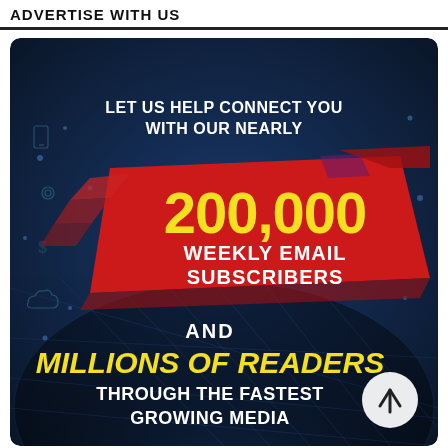ADVERTISE WITH US
[Figure (infographic): Dark blue network/tech background infographic. Top white bold text: 'LET US HELP CONNECT YOU WITH OUR NEARLY'. Center: red angular banner graphic with large yellow bold text '200,000' and white bold text 'WEEKLY EMAIL SUBSCRIBERS'. Bottom section: white bold text 'AND', large italic yellow bold text 'MILLIONS OF READERS', white bold text 'THROUGH THE FASTEST GROWING MEDIA'. White circular arrow button at bottom right.]